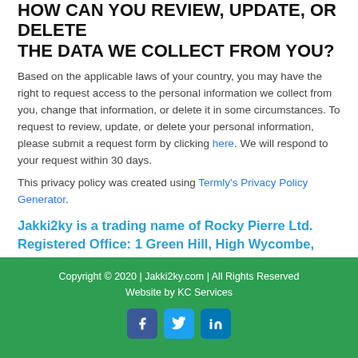HOW CAN YOU REVIEW, UPDATE, OR DELETE THE DATA WE COLLECT FROM YOU?
Based on the applicable laws of your country, you may have the right to request access to the personal information we collect from you, change that information, or delete it in some circumstances. To request to review, update, or delete your personal information, please submit a request form by clicking here. We will respond to your request within 30 days.
This privacy policy was created using Termly's Privacy Policy Generator.
Jakki2ky is a trading name of Rocky Pierre Ltd. Registered Office: 1 Green Hill, High Wycombe, Bucks, HP13 5QJ. Registered in England and Wales No. 8520812
Privacy Policy • Terms & Conditions
Copyright © 2020 | Jakki2ky.com | All Rights Reserved
Website by KC Services